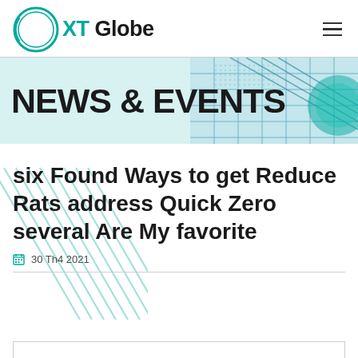XT Globe
[Figure (illustration): NEWS & EVENTS banner with blue architectural building image on right and light teal background]
six Found Ways to get Reduce Rats address Quick Zero several Are My favorite
30 Th4 2021